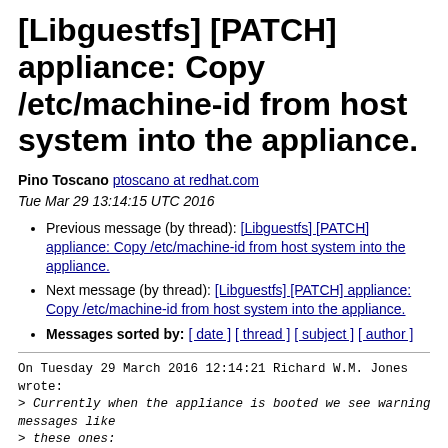[Libguestfs] [PATCH] appliance: Copy /etc/machine-id from host system into the appliance.
Pino Toscano ptoscano at redhat.com
Tue Mar 29 13:14:15 UTC 2016
Previous message (by thread): [Libguestfs] [PATCH] appliance: Copy /etc/machine-id from host system into the appliance.
Next message (by thread): [Libguestfs] [PATCH] appliance: Copy /etc/machine-id from host system into the appliance.
Messages sorted by: [ date ] [ thread ] [ subject ] [ author ]
On Tuesday 29 March 2016 12:14:21 Richard W.M. Jones wrote:
> Currently when the appliance is booted we see warning messages like
> these ones:
>